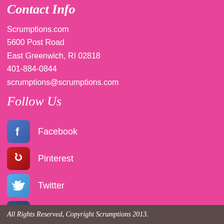Contact Info
Scrumptions.com
5600 Post Road
East Greenwich, RI 02818
401-884-0844
scrumptions@scrumptions.com
Follow Us
Facebook
Pinterest
Twitter
Tumblr
All Rights Reserved, Copyright Scrumptions 2013.